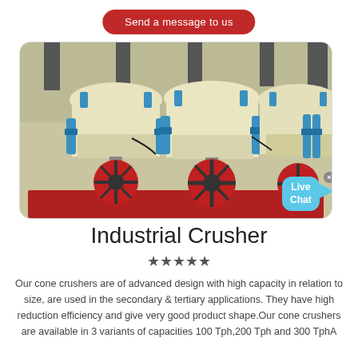Send a message to us
[Figure (photo): Three industrial cone crushers with cream/yellow bodies, blue hydraulic cylinders, and red flywheel pulleys, mounted on red frames in a factory setting.]
Industrial Crusher
★★★★★
Our cone crushers are of advanced design with high capacity in relation to size, are used in the secondary & tertiary applications. They have high reduction efficiency and give very good product shape.Our cone crushers are available in 3 variants of capacities 100 Tph,200 Tph and 300 TphA